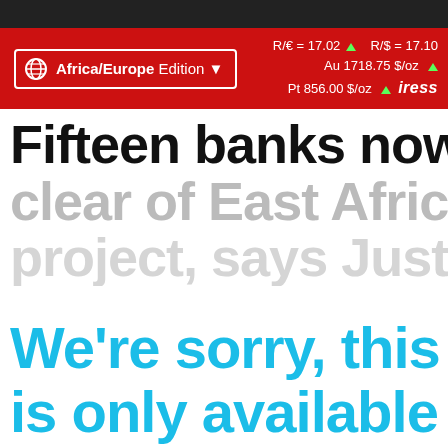Africa/Europe Edition  R/€ = 17.02 ▲  R/$ = 17.10  Au 1718.75 $/oz ▲  Pt 856.00 $/oz ▲  iress
Fifteen banks now steer clear of East African oil project, says Just Share
We're sorry, this content is only available